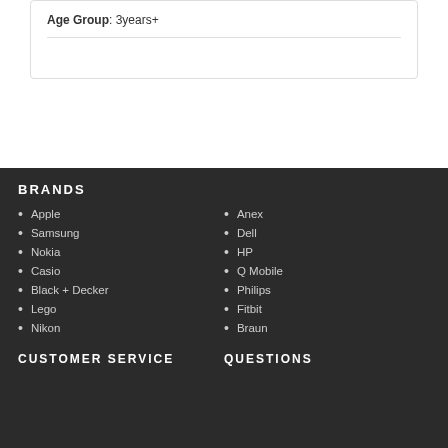Age Group: 3years+
BRANDS
Apple
Samsung
Nokia
Casio
Black + Decker
Lego
Nikon
Anex
Dell
HP
Q Mobile
Philips
Fitbit
Braun
CUSTOMER SERVICE
QUESTIONS